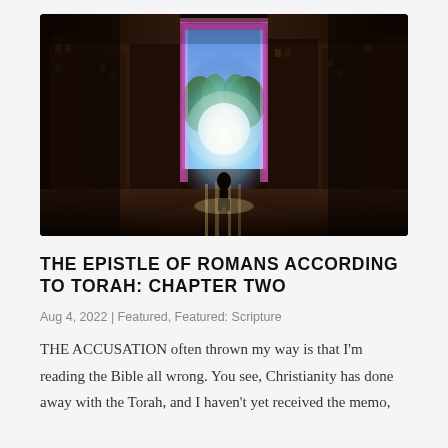[Figure (illustration): Digital fantasy illustration showing a dark urban alleyway with ruined buildings on both sides. In the center, a glowing rectangular portal/doorway emits bright blue and white light, revealing a lush green scene beyond. A lone figure stands silhouetted in front of the portal facing away from the viewer. The surrounding scene is painted in dark browns and shadows.]
THE EPISTLE OF ROMANS ACCORDING TO TORAH: CHAPTER TWO
Aug 4, 2022 | Featured, Featured: Scripture
THE ACCUSATION often thrown my way is that I’m reading the Bible all wrong. You see, Christianity has done away with the Torah, and I haven’t yet received the memo,